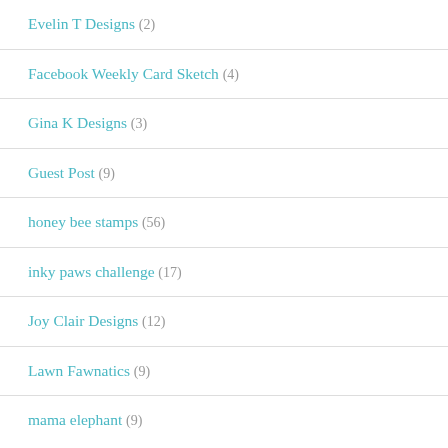Evelin T Designs (2)
Facebook Weekly Card Sketch (4)
Gina K Designs (3)
Guest Post (9)
honey bee stamps (56)
inky paws challenge (17)
Joy Clair Designs (12)
Lawn Fawnatics (9)
mama elephant (9)